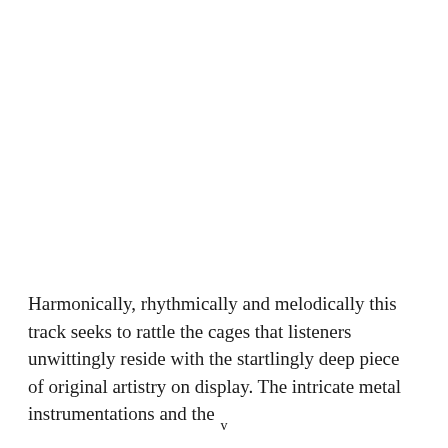Harmonically, rhythmically and melodically this track seeks to rattle the cages that listeners unwittingly reside with the startlingly deep piece of original artistry on display. The intricate metal instrumentations and the
v